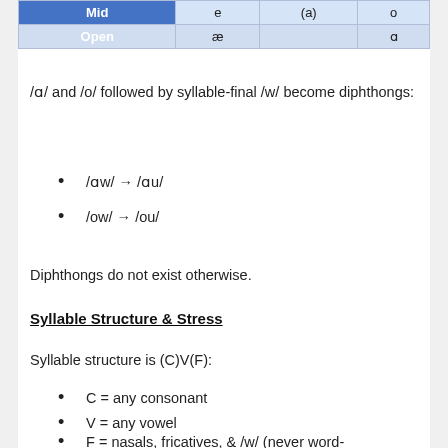|  |  | (a) | o |
| --- | --- | --- | --- |
| Mid | e | (a) | o |
| Open | æ |  | a |
/a/ and /o/ followed by syllable-final /w/ become diphthongs:
/aw/ → /au/
/ow/ → /ou/
Diphthongs do not exist otherwise.
Syllable Structure & Stress
Syllable structure is (C)V(F):
C = any consonant
V = any vowel
F = nasals, fricatives, & /w/ (never word-